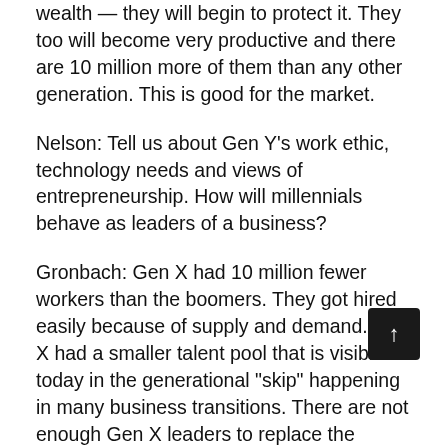wealth — they will begin to protect it. They too will become very productive and there are 10 million more of them than any other generation. This is good for the market.
Nelson: Tell us about Gen Y's work ethic, technology needs and views of entrepreneurship. How will millennials behave as leaders of a business?
Gronbach: Gen X had 10 million fewer workers than the boomers. They got hired easily because of supply and demand. Gen X had a smaller talent pool that is visible today in the generational "skip" happening in many business transitions. There are not enough Gen X leaders to replace the boomer leaders. The problem is even worse when the boomers hang on to their positions because by the time they are ready to hand the baton, Gen X is ready to retire as well.
The good news is there are plenty of millennials.